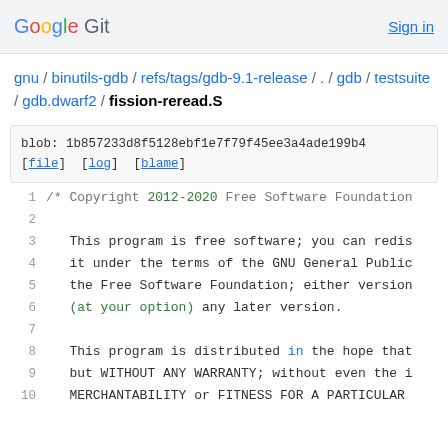Google Git  Sign in
gnu / binutils-gdb / refs/tags/gdb-9.1-release / . / gdb / testsuite / gdb.dwarf2 / fission-reread.S
blob: 1b857233d8f5128ebf1e7f79f45ee3a4ade199b4
[file]  [log]  [blame]
1   /* Copyright 2012-2020 Free Software Foundation
2
3       This program is free software; you can redis
4       it under the terms of the GNU General Public
5       the Free Software Foundation; either version
6       (at your option) any later version.
7
8       This program is distributed in the hope that
9       but WITHOUT ANY WARRANTY; without even the i
10      MERCHANTABILITY or FITNESS FOR A PARTICULAR